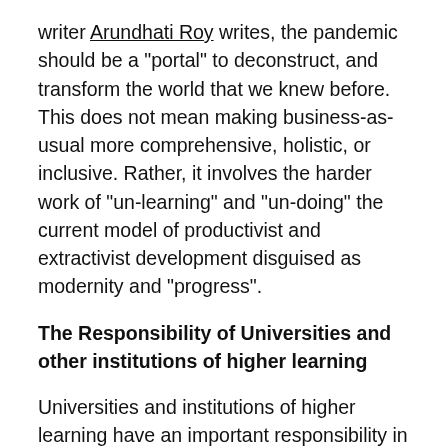writer Arundhati Roy writes, the pandemic should be a “portal” to deconstruct, and transform the world that we knew before. This does not mean making business-as-usual more comprehensive, holistic, or inclusive. Rather, it involves the harder work of “un-learning” and “un-doing” the current model of productivist and extractivist development disguised as modernity and “progress”.
The Responsibility of Universities and other institutions of higher learning
Universities and institutions of higher learning have an important responsibility in these “unlearning” and “rebuilding” processes as they offer privileged spaces for enhancing critical thinking in dialogue with constant societal change. Even if scholars have advanced many long and fruitful discussions on how to break free from colonial legacies and extractive development models,